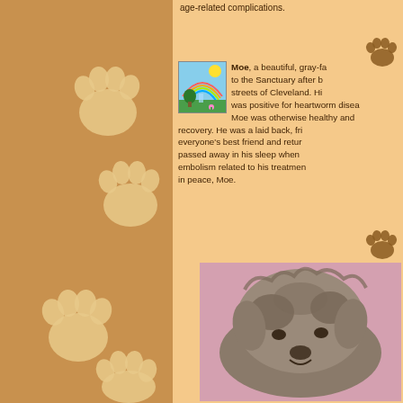age-related complications.
[Figure (illustration): Paw print divider icon (top right)]
Moe, a beautiful, gray-fa... to the Sanctuary after b... streets of Cleveland. Hi... was positive for heartworm disea... Moe was otherwise healthy and ... recovery. He was a laid back, fri... everyone's best friend and retur... passed away in his sleep when ... embolism related to his treatmen... in peace, Moe.
[Figure (illustration): Paw print divider icon (middle right)]
[Figure (photo): Photo of Moe, a gray scruffy dog resting on a pink surface]
[Figure (illustration): Large decorative paw prints on brown left panel background]